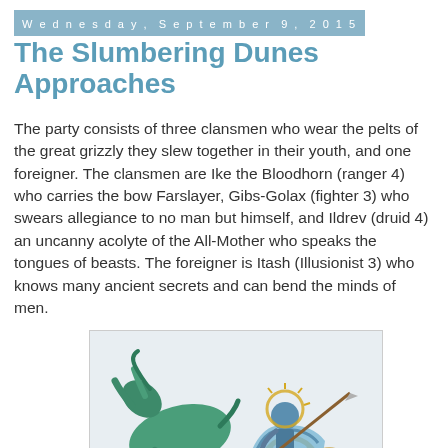Wednesday, September 9, 2015
The Slumbering Dunes Approaches
The party consists of three clansmen who wear the pelts of the great grizzly they slew together in their youth, and one foreigner. The clansmen are Ike the Bloodhorn (ranger 4) who carries the bow Farslayer, Gibs-Golax (fighter 3) who swears allegiance to no man but himself, and Ildrev (druid 4) an uncanny acolyte of the All-Mother who speaks the tongues of beasts. The foreigner is Itash (Illusionist 3) who knows many ancient secrets and can bend the minds of men.
[Figure (illustration): A colorful fantasy illustration of a chariot scene with a warrior figure holding a spear, riding in an ornate chariot pulled by a rearing horse, rendered in blue, green, and gold tones.]